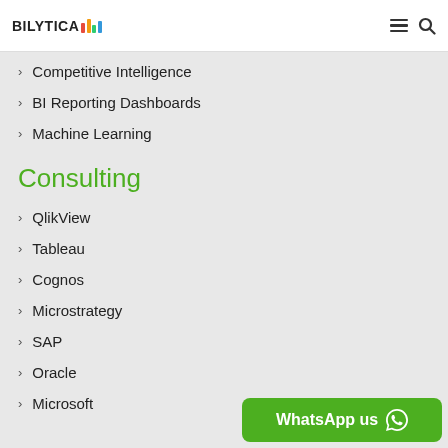BILYTICA
Competitive Intelligence
BI Reporting Dashboards
Machine Learning
Consulting
QlikView
Tableau
Cognos
Microstrategy
SAP
Oracle
Microsoft